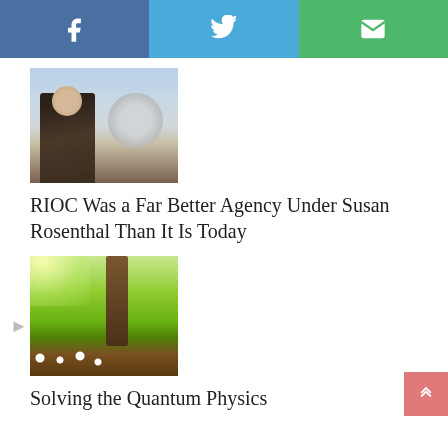[Figure (other): Social sharing bar with Facebook (blue), Twitter (light blue), and Email (green) buttons with white icons]
[Figure (photo): Woman wearing sunglasses and dark patterned wrap, standing outdoors near a large metallic spherical sculpture]
RIOC Was a Far Better Agency Under Susan Rosenthal Than It Is Today
[Figure (photo): Sunny park scene with green grass, white wildflowers, and a large tree trunk in the foreground with bright sunlight in background]
Solving the Quantum Physics